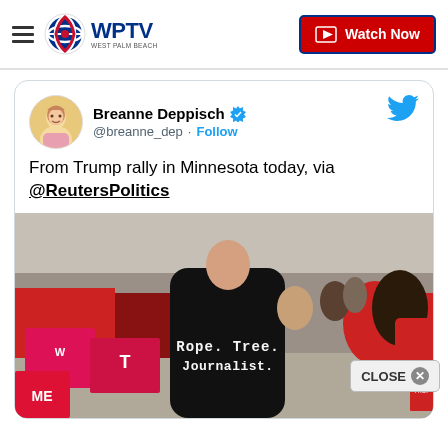[Figure (logo): WPTV West Palm Beach news logo with navigation bar and Watch Now button]
Breanne Deppisch @breanne_dep · Follow
From Trump rally in Minnesota today, via @ReutersPolitics
[Figure (photo): Crowd at Trump rally in Minnesota, person in black t-shirt with text 'Rope. Tree. Journalist.' on back, other attendees holding signs including 'Women for Trump' and 'Make America Great Again']